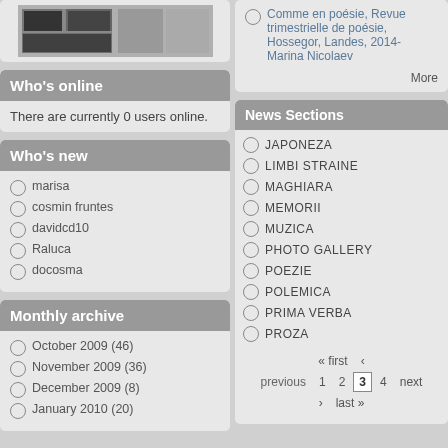[Figure (photo): Small image widget with photo collage at top left]
Who's online
There are currently 0 users online.
Who's new
marisa
cosmin fruntes
davidcd10
Raluca
docosma
Monthly archive
October 2009 (46)
November 2009 (36)
December 2009 (8)
January 2010 (20)
Comme en poésie, Revue trimestrielle de poésie, Hossegor, Landes, 2014- Marina Nicolaev
More
News Sections
JAPONEZA
LIMBI STRAINE
MAGHIARA
MEMORII
MUZICA
PHOTO GALLERY
POEZIE
POLEMICA
PRIMA VERBA
PROZA
« first ‹ previous 1 2 3 4 next › last »